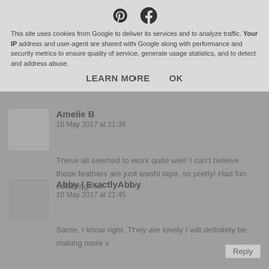This site uses cookies from Google to deliver its services and to analyze traffic. Your IP address and user-agent are shared with Google along with performance and security metrics to ensure quality of service, generate usage statistics, and to detect and address abuse.
LEARN MORE   OK
Amelie B
10 May 2017 at 21:38
These all seemed to work quite well! I can't believe those feathers are just washi tape, so pretty! Had fun collabing!! xx
Reply
Abby | ExactlyAbby
10 May 2017 at 21:45
Same, I know right. They are lovely I will definitely be making more x
Reply